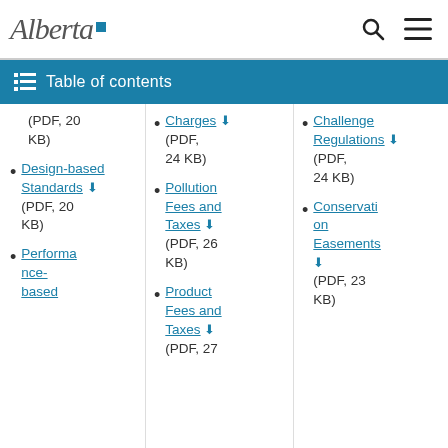Alberta [logo] | Search | Menu
Table of contents
(PDF, 20 KB)
Design-based Standards (PDF, 20 KB)
Performance-based
Charges (PDF, 24 KB)
Pollution Fees and Taxes (PDF, 26 KB)
Product Fees and Taxes (PDF, 27
Challenge Regulations (PDF, 24 KB)
Conservation Easements (PDF, 23 KB)